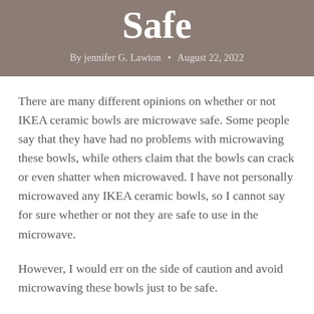Safe
By jennifer G. Lawton • August 22, 2022
There are many different opinions on whether or not IKEA ceramic bowls are microwave safe. Some people say that they have had no problems with microwaving these bowls, while others claim that the bowls can crack or even shatter when microwaved. I have not personally microwaved any IKEA ceramic bowls, so I cannot say for sure whether or not they are safe to use in the microwave.
However, I would err on the side of caution and avoid microwaving these bowls just to be safe.